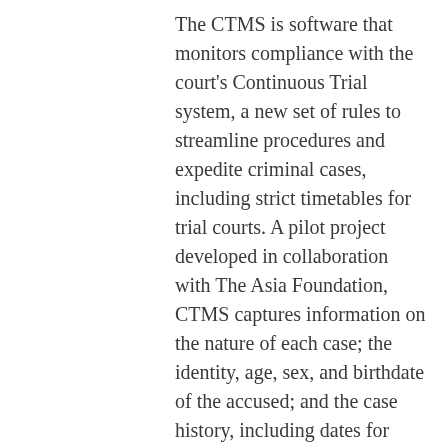The CTMS is software that monitors compliance with the court's Continuous Trial system, a new set of rules to streamline procedures and expedite criminal cases, including strict timetables for trial courts. A pilot project developed in collaboration with The Asia Foundation, CTMS captures information on the nature of each case; the identity, age, sex, and birthdate of the accused; and the case history, including dates for each stage of the proceedings.
In the CTMS pilot's first round of reporting, in 2017, a good 85 percent of the nation's trial courts used the new system to submit reports on criminal cases to the Supreme Court. This high